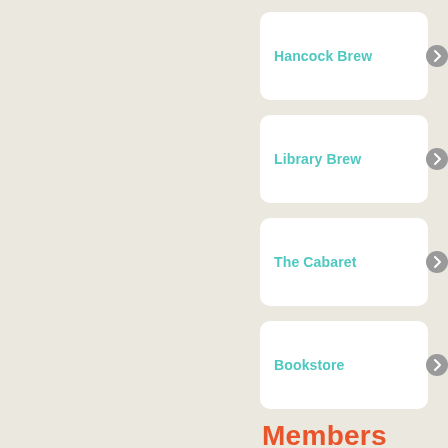Hancock Brew
Library Brew
The Cabaret
Bookstore
Members